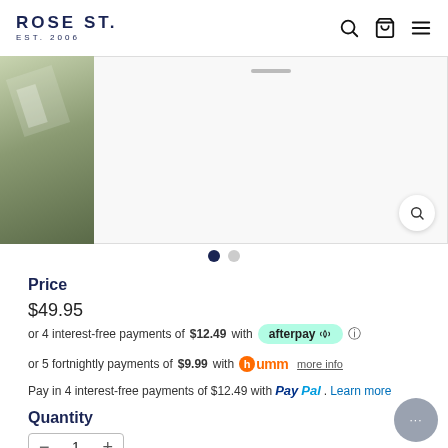ROSE ST. EST. 2006
[Figure (photo): Product image thumbnail on left showing a green/silver wrapped item, and main product image area with search/zoom button]
Price
$49.95
or 4 interest-free payments of $12.49 with afterpay
or 5 fortnightly payments of $9.99 with humm more info
Pay in 4 interest-free payments of $12.49 with PayPal. Learn more
Quantity